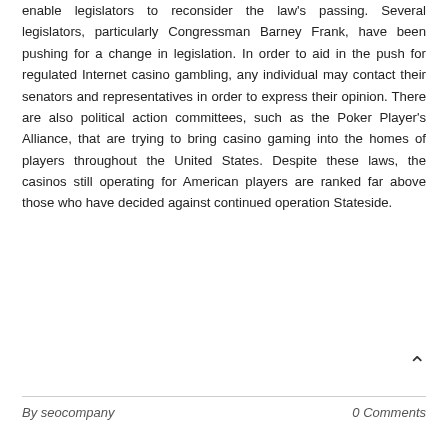enable legislators to reconsider the law's passing. Several legislators, particularly Congressman Barney Frank, have been pushing for a change in legislation. In order to aid in the push for regulated Internet casino gambling, any individual may contact their senators and representatives in order to express their opinion. There are also political action committees, such as the Poker Player's Alliance, that are trying to bring casino gaming into the homes of players throughout the United States. Despite these laws, the casinos still operating for American players are ranked far above those who have decided against continued operation Stateside.
By seocompany   0 Comments